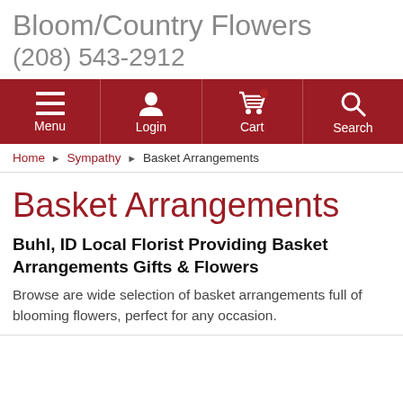Bloom/Country Flowers (208) 543-2912
[Figure (screenshot): Navigation bar with dark red background containing four items: Menu (hamburger icon), Login (person icon), Cart (shopping cart icon with red badge), Search (magnifying glass icon)]
Home ▶ Sympathy ▶ Basket Arrangements
Basket Arrangements
Buhl, ID Local Florist Providing Basket Arrangements Gifts & Flowers
Browse are wide selection of basket arrangements full of blooming flowers, perfect for any occasion.